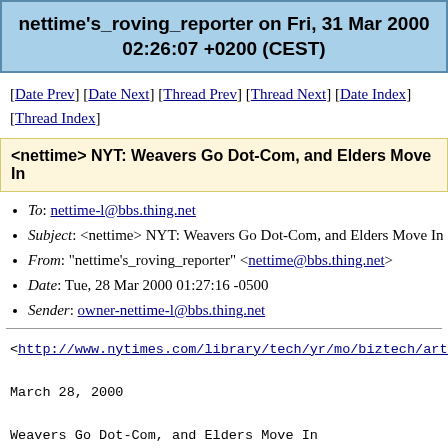nettime's_roving_reporter on Fri, 31 Mar 2000 02:26:07 +0200 (CEST)
[Date Prev] [Date Next] [Thread Prev] [Thread Next] [Date Index] [Thread Index]
<nettime> NYT: Weavers Go Dot-Com, and Elders Move In
To: nettime-l@bbs.thing.net
Subject: <nettime> NYT: Weavers Go Dot-Com, and Elders Move In
From: "nettime's_roving_reporter" <nettime@bbs.thing.net>
Date: Tue, 28 Mar 2000 01:27:16 -0500
Sender: owner-nettime-l@bbs.thing.net
<http://www.nytimes.com/library/tech/yr/mo/biztech/artic
March 28, 2000
Weavers Go Dot-Com, and Elders Move In
By SIMON ROMERO